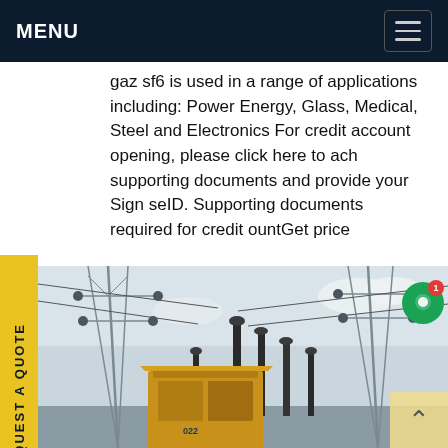MENU
gaz sf6 is used in a range of applications including: Power Energy, Glass, Medical, Steel and Electronics For credit account opening, please click here to ach supporting documents and provide your Sign seID. Supporting documents required for credit ountGet price
[Figure (photo): Industrial electrical substation with high-voltage towers, insulators, and a yellow transformer housing unit in the foreground. Steel lattice transmission towers and various electrical components visible against a cloudy sky.]